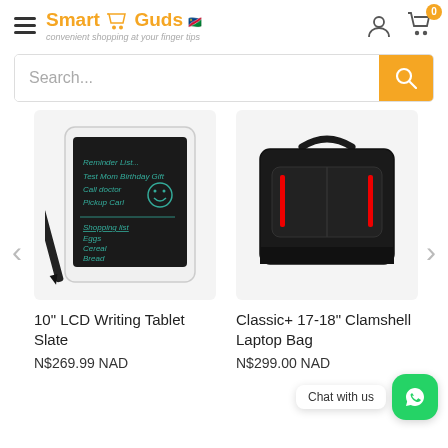[Figure (screenshot): SmartGuds.com e-commerce website header with logo, hamburger menu, user icon, and cart icon showing 0 items]
Search...
[Figure (photo): 10 inch LCD Writing Tablet Slate with stylus pen and green handwritten notes on dark screen]
[Figure (photo): Classic+ 17-18 inch Clamshell Laptop Bag in black with red accent zippers and handles]
10" LCD Writing Tablet Slate
N$269.99 NAD
Classic+ 17-18" Clamshell Laptop Bag
N$299.00 NAD